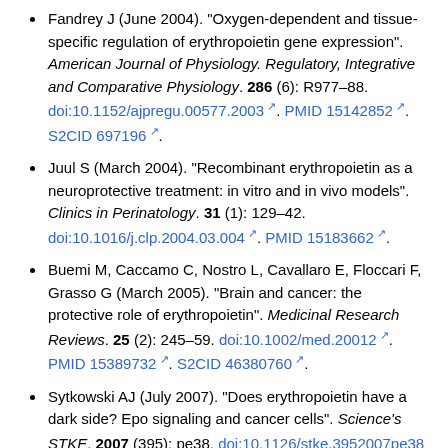Fandrey J (June 2004). "Oxygen-dependent and tissue-specific regulation of erythropoietin gene expression". American Journal of Physiology. Regulatory, Integrative and Comparative Physiology. 286 (6): R977–88. doi:10.1152/ajpregu.00577.2003. PMID 15142852. S2CID 697196.
Juul S (March 2004). "Recombinant erythropoietin as a neuroprotective treatment: in vitro and in vivo models". Clinics in Perinatology. 31 (1): 129–42. doi:10.1016/j.clp.2004.03.004. PMID 15183662.
Buemi M, Caccamo C, Nostro L, Cavallaro E, Floccari F, Grasso G (March 2005). "Brain and cancer: the protective role of erythropoietin". Medicinal Research Reviews. 25 (2): 245–59. doi:10.1002/med.20012. PMID 15389732. S2CID 46380760.
Sytkowski AJ (July 2007). "Does erythropoietin have a dark side? Epo signaling and cancer cells". Science's STKE. 2007 (395): pe38. doi:10.1126/stke.3952007pe38.